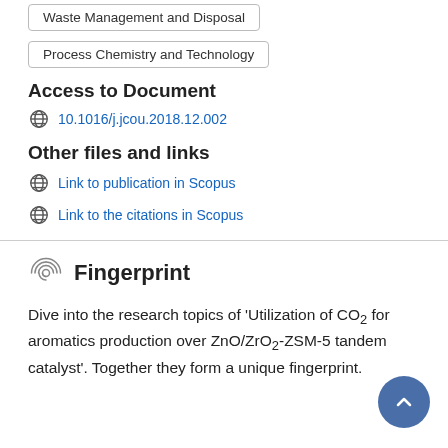Waste Management and Disposal
Process Chemistry and Technology
Access to Document
10.1016/j.jcou.2018.12.002
Other files and links
Link to publication in Scopus
Link to the citations in Scopus
Fingerprint
Dive into the research topics of 'Utilization of CO₂ for aromatics production over ZnO/ZrO₂-ZSM-5 tandem catalyst'. Together they form a unique fingerprint.